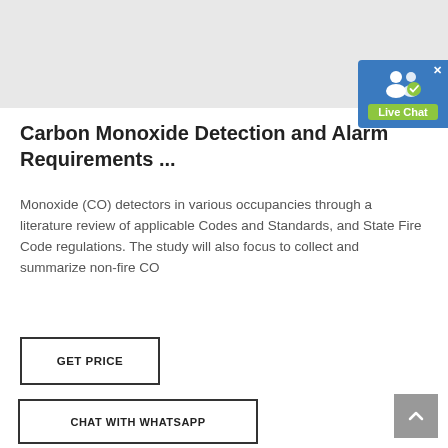[Figure (other): Gray banner area at top of page, likely an advertisement placeholder]
[Figure (other): Live Chat button widget in blue and green, with two people icon and checkmark]
Carbon Monoxide Detection and Alarm Requirements ...
Monoxide (CO) detectors in various occupancies through a literature review of applicable Codes and Standards, and State Fire Code regulations. The study will also focus to collect and summarize non-fire CO
GET PRICE
CHAT WITH WHATSAPP